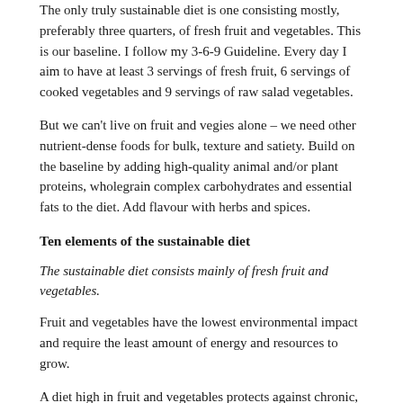The only truly sustainable diet is one consisting mostly, preferably three quarters, of fresh fruit and vegetables. This is our baseline. I follow my 3-6-9 Guideline. Every day I aim to have at least 3 servings of fresh fruit, 6 servings of cooked vegetables and 9 servings of raw salad vegetables.
But we can't live on fruit and vegies alone – we need other nutrient-dense foods for bulk, texture and satiety. Build on the baseline by adding high-quality animal and/or plant proteins, wholegrain complex carbohydrates and essential fats to the diet. Add flavour with herbs and spices.
Ten elements of the sustainable diet
The sustainable diet consists mainly of fresh fruit and vegetables.
Fruit and vegetables have the lowest environmental impact and require the least amount of energy and resources to grow.
A diet high in fruit and vegetables protects against chronic, degenerative disease. If we eat well, we won't get sick as often, reducing the burden on social and medical services, creating a more sustainable society.
Plant-based diets have their own ethical issues, although this would only apply in an agricultural model that relies on mechanization, not hand harvesting, and where monoculture crops destroy entire ecosystems.